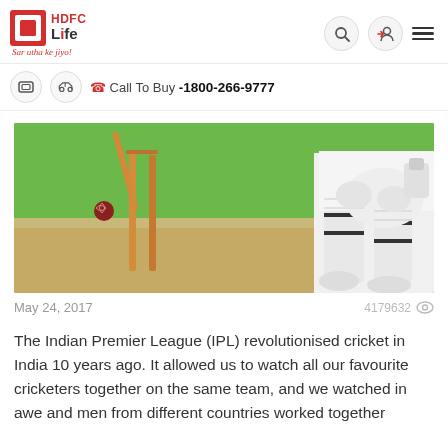HDFC Life - Sar utha ke jiyo!
Call To Buy -1800-266-9777
[Figure (photo): Cricket wickets with a cricket ball flying past and a batsman in white cricket gear visible on the right side, on a green grass ground]
May 24, 2017     4179632
The Indian Premier League (IPL) revolutionised cricket in India 10 years ago. It allowed us to watch all our favourite cricketers together on the same team, and we watched in awe and men from different countries worked together